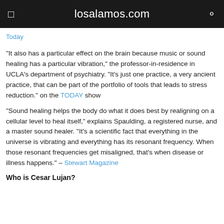losalamos.com
Today
“It also has a particular effect on the brain because music or sound healing has a particular vibration,” the professor-in-residence in UCLA’s department of psychiatry. “It’s just one practice, a very ancient practice, that can be part of the portfolio of tools that leads to stress reduction.” on the TODAY show
“Sound healing helps the body do what it does best by realigning on a cellular level to heal itself,” explains Spaulding, a registered nurse, and a master sound healer. “It’s a scientific fact that everything in the universe is vibrating and everything has its resonant frequency. When those resonant frequencies get misaligned, that’s when disease or illness happens.” – Stewart Magazine
Who is Cesar Lujan?